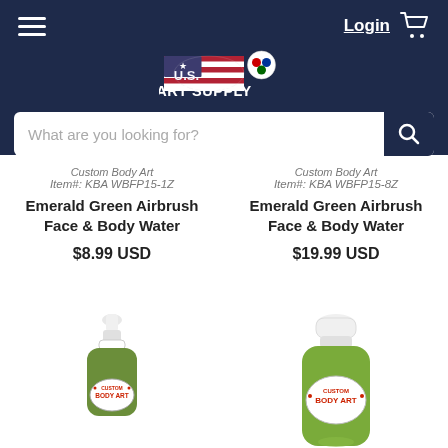U.S. Art Supply — Login — Cart — Search bar: What are you looking for?
Custom Body Art
Item#: KBA WBFP15-1Z
Custom Body Art
Item#: KBA WBFP15-8Z
Emerald Green Airbrush Face & Body Water
Emerald Green Airbrush Face & Body Water
$8.99 USD
$19.99 USD
[Figure (photo): Small dropper bottle of Custom Body Art Emerald Green Airbrush Face & Body Water paint, green liquid visible]
[Figure (photo): Larger bottle of Custom Body Art Emerald Green Airbrush Face & Body Water paint, green liquid visible]